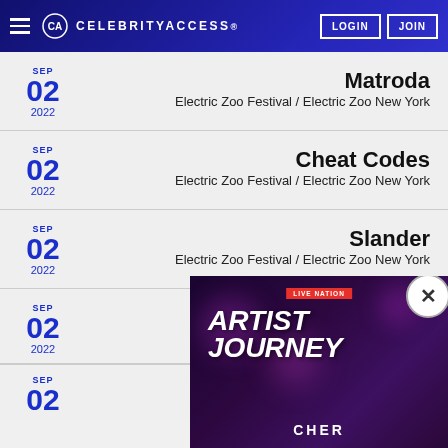CELEBRITYACCESS. LOGIN JOIN
SEP 02 2022 — Matroda — Electric Zoo Festival / Electric Zoo New York
SEP 02 2022 — Cheat Codes — Electric Zoo Festival / Electric Zoo New York
SEP 02 2022 — Slander — Electric Zoo Festival / Electric Zoo New York
SEP 02 2022 — Electric Zoo
SEP 02 — Electric Zoo
[Figure (screenshot): Live Nation Artist Journey popup featuring Cher, with a dark purple bokeh background, Live Nation badge, 'ARTIST JOURNEY' text in bold italic white, and 'CHER' at the bottom. A close (X) button is in the upper right corner.]